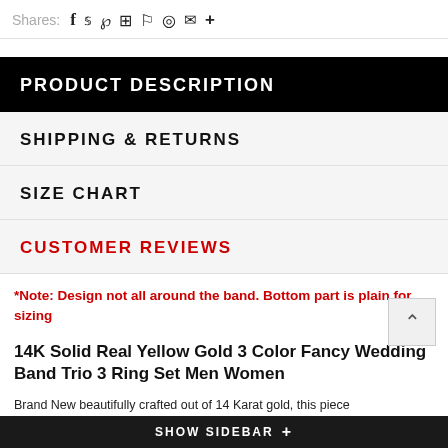Shares:
PRODUCT DESCRIPTION
SHIPPING & RETURNS
SIZE CHART
CUSTOMER REVIEWS
*Note: Design not all around the band. Bottom part is plain for sizing
14K Solid Real Yellow Gold 3 Color Fancy Wedding Band Trio 3 Ring Set Men Women
Brand New beautifully crafted out of 14 Karat gold, this piece
SHOW SIDEBAR +